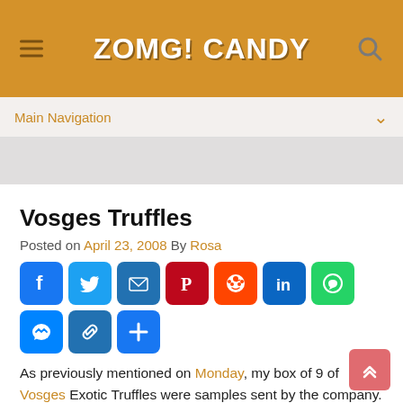ZOMG! CANDY
Main Navigation
Vosges Truffles
Posted on April 23, 2008 By Rosa
[Figure (infographic): Social sharing buttons: Facebook, Twitter, Email, Pinterest, Reddit, LinkedIn, WhatsApp, Messenger, Copy Link, More]
As previously mentioned on Monday, my box of 9 of Vosges Exotic Truffles were samples sent by the company. I shar them with friends, which is the best way to savor fine